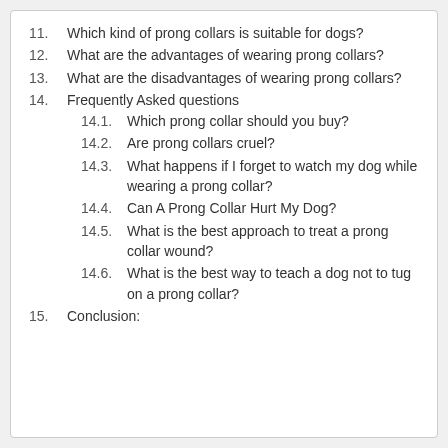11. Which kind of prong collars is suitable for dogs?
12. What are the advantages of wearing prong collars?
13. What are the disadvantages of wearing prong collars?
14. Frequently Asked questions
14.1. Which prong collar should you buy?
14.2. Are prong collars cruel?
14.3. What happens if I forget to watch my dog while wearing a prong collar?
14.4. Can A Prong Collar Hurt My Dog?
14.5. What is the best approach to treat a prong collar wound?
14.6. What is the best way to teach a dog not to tug on a prong collar?
15. Conclusion: